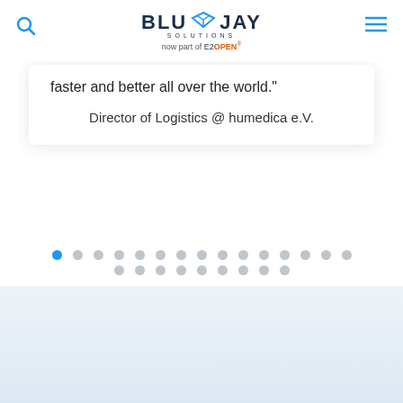BluJay Solutions now part of E2OPEN
faster and better all over the world."
Director of Logistics @ humedica e.V.
[Figure (other): Carousel pagination dots — one blue active dot followed by 22 grey inactive dots arranged in two rows]